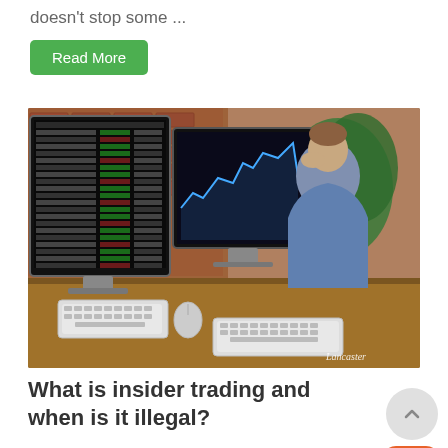doesn't stop some ...
Read More
[Figure (photo): A young man in a blue denim shirt sits at a wooden desk staring anxiously at multiple large computer monitors displaying stock trading data with colorful rows of numbers and charts. He rests his hand on his forehead in a stressed pose. A brick wall and plant are visible in the background. Watermark reads 'Lancaster'.]
What is insider trading and when is it illegal?
Insider trading is a strange thing that many people who aren't actively involved in stock trading and investing